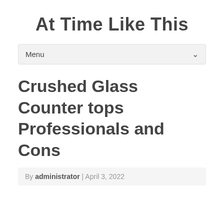At Time Like This
Menu
Crushed Glass Counter tops Professionals and Cons
By administrator | April 3, 2022